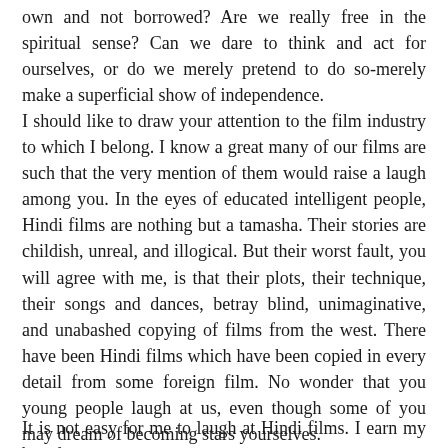own and not borrowed? Are we really free in the spiritual sense? Can we dare to think and act for ourselves, or do we merely pretend to do so-merely make a superficial show of independence.
I should like to draw your attention to the film industry to which I belong. I know a great many of our films are such that the very mention of them would raise a laugh among you. In the eyes of educated intelligent people, Hindi films are nothing but a tamasha. Their stories are childish, unreal, and illogical. But their worst fault, you will agree with me, is that their plots, their technique, their songs and dances, betray blind, unimaginative, and unabashed copying of films from the west. There have been Hindi films which have been copied in every detail from some foreign film. No wonder that you young people laugh at us, even though some of you may dream of becoming stars yourselves.
It is not easy for me to laugh at Hindi films. I earn my bread